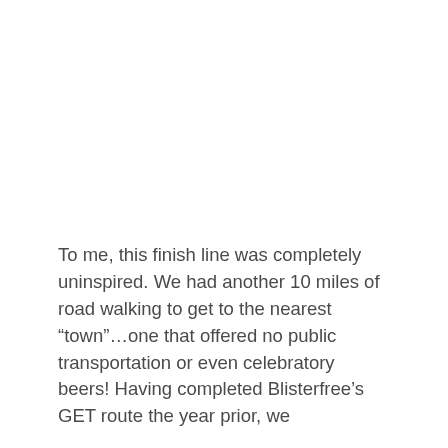To me, this finish line was completely uninspired. We had another 10 miles of road walking to get to the nearest “town”…one that offered no public transportation or even celebratory beers! Having completed Blisterfree’s GET route the year prior, we